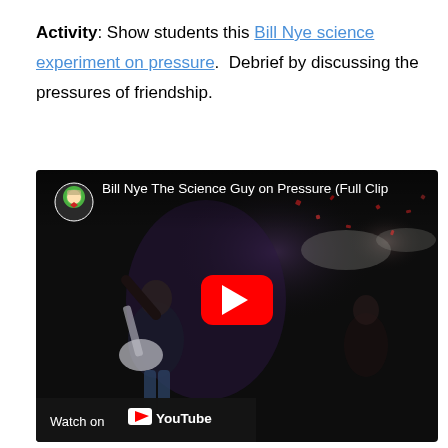Activity: Show students this Bill Nye science experiment on pressure. Debrief by discussing the pressures of friendship.
[Figure (screenshot): YouTube video thumbnail for 'Bill Nye The Science Guy on Pressure (Full Clip)' showing a dark concert/performance scene with a guitarist, people, and confetti. A red YouTube play button is centered. At the bottom left is a 'Watch on YouTube' bar with the YouTube logo.]